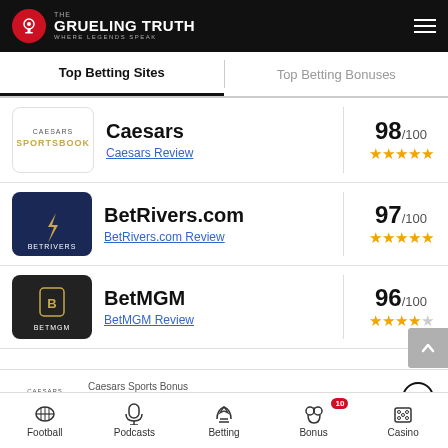The Grueling Truth — WHERE LEGENDS SPEAK
Top Betting Sites | Top Betting Bonuses
Caesars — Caesars Review — 98/100 ★★★★★
BetRivers.com — BetRivers.com Review — 97/100 ★★★★★
BetMGM — BetMGM Review — 96/100 ★★★★★
Caesars Sports Bonus
100% up to $1250
Football | Podcasts | Betting | Bonus 10 | Casino